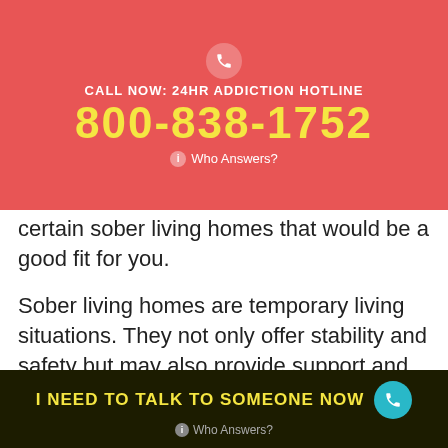CALL NOW: 24HR ADDICTION HOTLINE
800-838-1752
Who Answers?
certain sober living homes that would be a good fit for you.
Sober living homes are temporary living situations. They not only offer stability and safety but may also provide support and other recovery-related services. For example, some sober livings have 12-step meetings onsite. These residencies tend to be somewhat structured and have certain requirements in order to live there. These residencies tend to be somewhat structured and have certain requirements in order to live there.
I NEED TO TALK TO SOMEONE NOW
Who Answers?